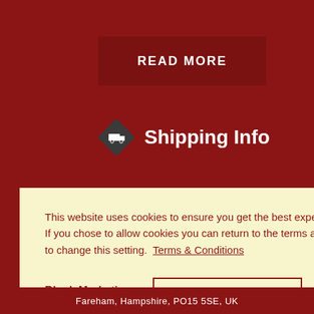READ MORE
Shipping Info
This website uses cookies to ensure you get the best experience.
If you chose to allow cookies you can return to the terms and conditions page to change this setting.  Terms & Conditions
Block Marketing Cookies
Allow Cookies
Fareham, Hampshire, PO15 5SE, UK